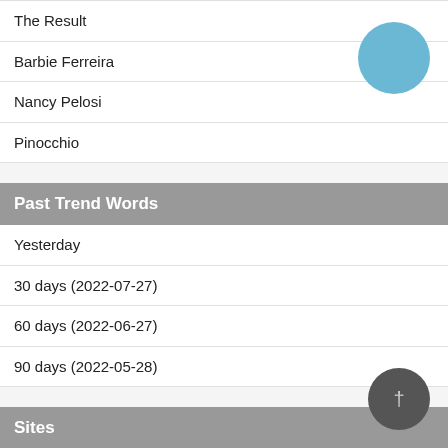The Result
Barbie Ferreira
Nancy Pelosi
Pinocchio
Past Trend Words
Yesterday
30 days (2022-07-27)
60 days (2022-06-27)
90 days (2022-05-28)
Sites
World News RSS
News & Links USA
News & Links 台灣
News & Links 香港
News & Links 日本
Crypto Coin News
비트코인 뉴스레터
加密貨幣新聞資訊